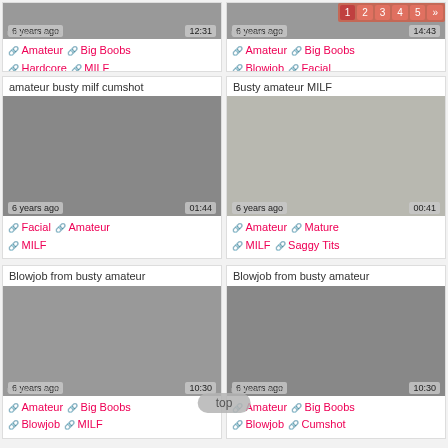6 years ago | 12:31 | Amateur, Big Boobs, Hardcore, MILF
6 years ago | 14:43 | Amateur, Big Boobs, Blowjob, Facial
amateur busty milf cumshot | 6 years ago | 01:44 | Facial, Amateur, MILF
Busty amateur MILF | 6 years ago | 00:41 | Amateur, Mature, MILF, Saggy Tits
Blowjob from busty amateur | 6 years ago | 10:30 | Amateur, Big Boobs, Blowjob, MILF
Blowjob from busty amateur | 6 years ago | 10:30 | Amateur, Big Boobs, Blowjob, Cumshot